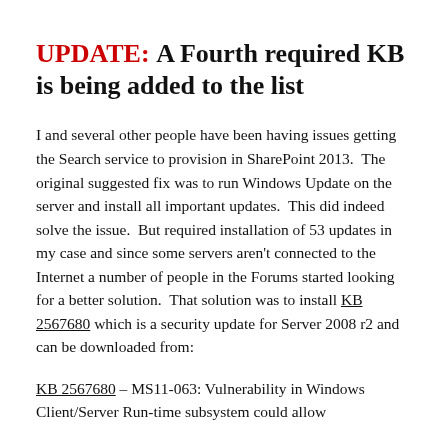UPDATE: A Fourth required KB is being added to the list
I and several other people have been having issues getting the Search service to provision in SharePoint 2013.  The original suggested fix was to run Windows Update on the server and install all important updates.  This did indeed solve the issue.  But required installation of 53 updates in my case and since some servers aren't connected to the Internet a number of people in the Forums started looking for a better solution.  That solution was to install KB 2567680 which is a security update for Server 2008 r2 and can be downloaded from:
KB 2567680 – MS11-063: Vulnerability in Windows Client/Server Run-time subsystem could allow